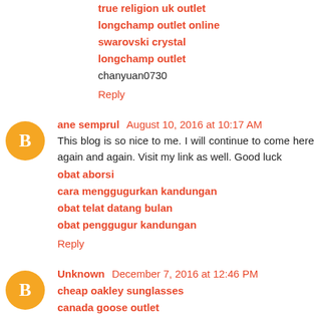true religion uk outlet
longchamp outlet online
swarovski crystal
longchamp outlet
chanyuan0730
Reply
ane semprul  August 10, 2016 at 10:17 AM
This blog is so nice to me. I will continue to come here again and again. Visit my link as well. Good luck
obat aborsi
cara menggugurkan kandungan
obat telat datang bulan
obat penggugur kandungan
Reply
Unknown  December 7, 2016 at 12:46 PM
cheap oakley sunglasses
canada goose outlet